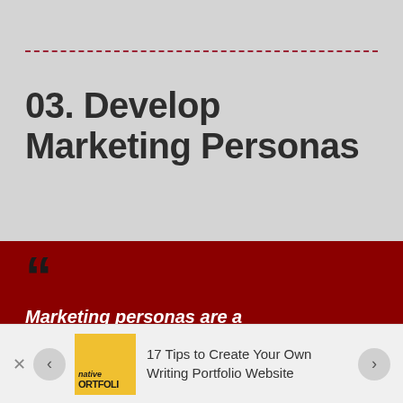03. Develop Marketing Personas
Marketing personas are a comprehensive “map” of your audience’s minds and personalities, helping you see the world from their
17 Tips to Create Your Own Writing Portfolio Website